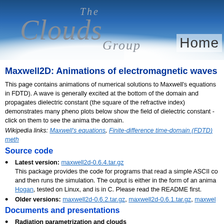[Figure (illustration): The Clouds Group website header banner with sky/cloud background, stylized italic text reading 'The Clouds Group' and 'Home' navigation link on the right]
Maxwell2D: Animations of electromagnetic waves
This page contains animations of numerical solutions to Maxwell's equations in FDTD). A wave is generally excited at the bottom of the domain and propagates dielectric constant (the square of the refractive index) demonstrates many phenomena. plots below show the field of dielectric constant - click on them to see the animations the domain.
Wikipedia links: Maxwell's equations, Finite-difference time-domain (FDTD) method
Source code
Latest version: maxwell2d-0.6.4.tar.gz
This package provides the code for programs that read a simple ASCII code and then runs the simulation. The output is either in the form of an animation. Hogan, tested on Linux, and is in C. Please read the README first.
Older versions: maxwell2d-0.6.2.tar.gz, maxwell2d-0.6.1.tar.gz, maxwel...
Documents and presentations
Radiation parametrization and clouds
Hogan, R. J., and J. K. P. Shonk. Proc. ECMWF Seminar, 1-4 Sept 2008:
PPT